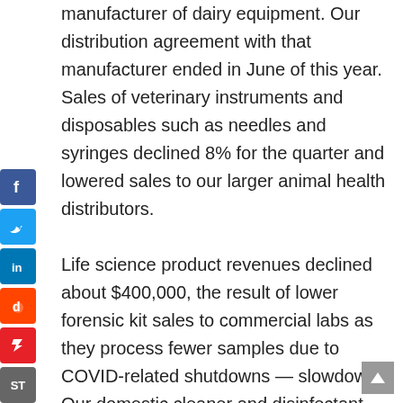manufacturer of dairy equipment. Our distribution agreement with that manufacturer ended in June of this year. Sales of veterinary instruments and disposables such as needles and syringes declined 8% for the quarter and lowered sales to our larger animal health distributors.

Life science product revenues declined about $400,000, the result of lower forensic kit sales to commercial labs as they process fewer samples due to COVID-related shutdowns — slowdowns. Our domestic cleaner and disinfectant business benefited from a 31% increase in hand sanitizers and wipes resulting from COVID-19 demand somewhat offset by lower sales of water treatment products. And our insecticides revenues in the US rose 6% boosted by our purchase in July of the StandGuard product line.